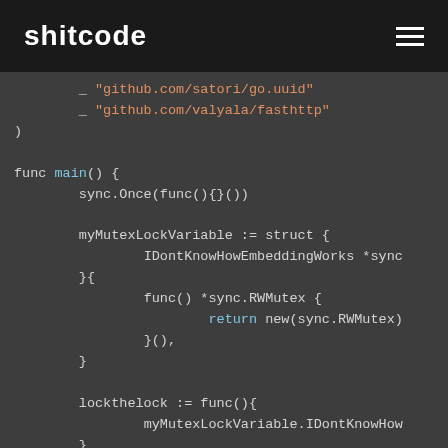shitcode
[Figure (screenshot): Go source code snippet showing a func main() block with sync.Once, a struct with embedded sync mutex, lockthelock and unlockthelock func variables, and a TODO comment. Dark-themed code editor screenshot.]